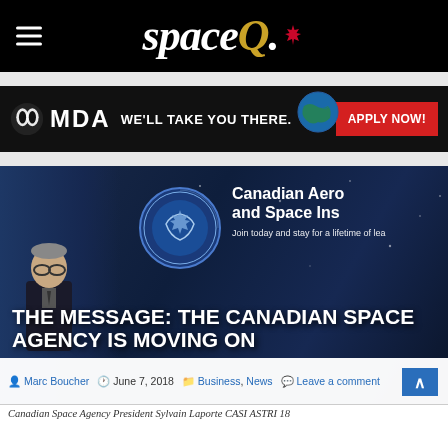spaceQ
[Figure (photo): MDA advertisement banner: black background with MDA logo, text 'WE'LL TAKE YOU THERE.' with Earth image, and red 'APPLY NOW!' button]
[Figure (photo): Photo of Canadian Space Agency President Sylvain Laporte speaking at CASI ASTRI 18 conference, with CASI logo visible in background]
THE MESSAGE: THE CANADIAN SPACE AGENCY IS MOVING ON
Marc Boucher  June 7, 2018  Business, News  Leave a comment
Canadian Space Agency President Sylvain Laporte CASI ASTRI 18